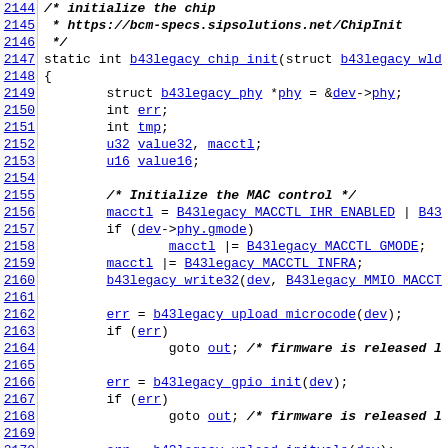Source code listing lines 2144-2174, b43legacy_chip_init function in C